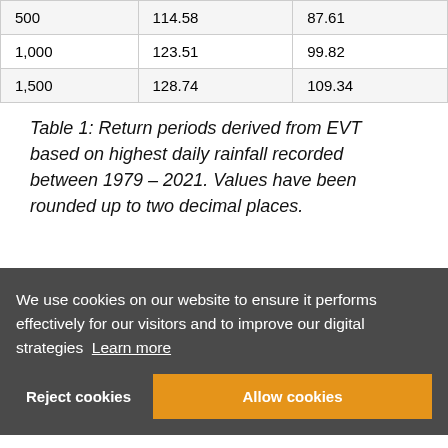| 500 | 114.58 | 87.61 |
| 1,000 | 123.51 | 99.82 |
| 1,500 | 128.74 | 109.34 |
Table 1: Return periods derived from EVT based on highest daily rainfall recorded between 1979 – 2021. Values have been rounded up to two decimal places.
We use cookies on our website to ensure it performs effectively for our visitors and to improve our digital strategies Learn more
Reject cookies  Allow cookies